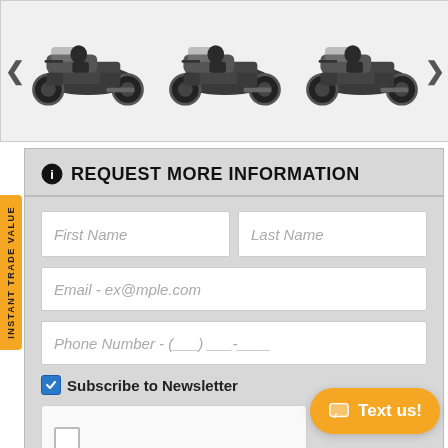[Figure (photo): Motorcycle carousel showing three dark-colored touring motorcycles (Harley-Davidson style) side by side with left and right navigation arrows]
REQUEST MORE INFORMATION
First Name
Last Name
Email - ex@mple.com
Phone Number - (___) ___-____
Subscribe to Newsletter
[Figure (other): reCAPTCHA checkbox widget]
SUBMIT